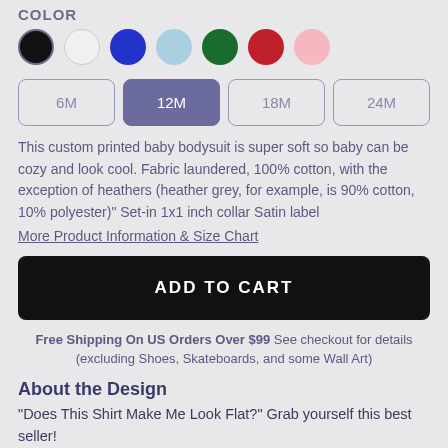COLOR
[Figure (infographic): Seven color swatches in a row: black (selected/outlined), white, blue, light blue, green, red, pink]
6M
12M (selected)
18M
24M
This custom printed baby bodysuit is super soft so baby can be cozy and look cool. Fabric laundered, 100% cotton, with the exception of heathers (heather grey, for example, is 90% cotton, 10% polyester)" Set-in 1x1 inch collar Satin label
More Product Information & Size Chart
ADD TO CART
Free Shipping On US Orders Over $99 See checkout for details (excluding Shoes, Skateboards, and some Wall Art)
About the Design
"Does This Shirt Make Me Look Flat?" Grab yourself this best seller!
Quote made popular from Chase Ross' "Shit Tranct Guys Say"